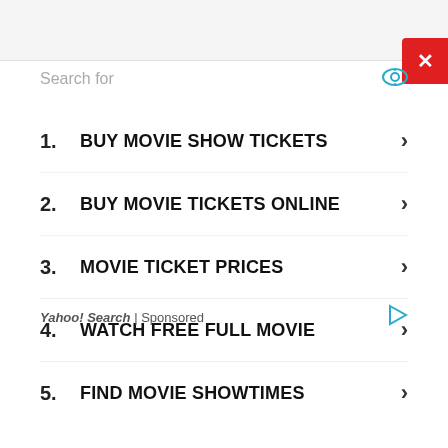[Figure (screenshot): Top navigation bar with grey background and red close button with X]
Search for
1. BUY MOVIE SHOW TICKETS
2. BUY MOVIE TICKETS ONLINE
3. MOVIE TICKET PRICES
4. WATCH FREE FULL MOVIE
5. FIND MOVIE SHOWTIMES
Yahoo! Search | Sponsored